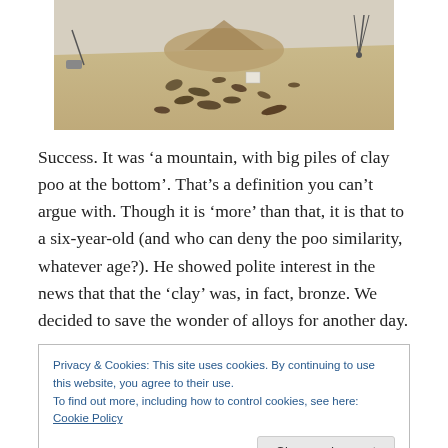[Figure (photo): An art installation showing a sandy/earthy landscape with scattered dark objects resembling rocks or clay forms, viewed from above at an angle. Objects appear to be bronze pieces spread across a beige surface, with some equipment visible at the edges.]
Success. It was ‘a mountain, with big piles of clay poo at the bottom’. That’s a definition you can’t argue with. Though it is ‘more’ than that, it is that to a six-year-old (and who can deny the poo similarity, whatever age?). He showed polite interest in the news that that the ‘clay’ was, in fact, bronze. We decided to save the wonder of alloys for another day.
Privacy & Cookies: This site uses cookies. By continuing to use this website, you agree to their use.
To find out more, including how to control cookies, see here: Cookie Policy
dreams, and it was by someone I’d never heard of. What